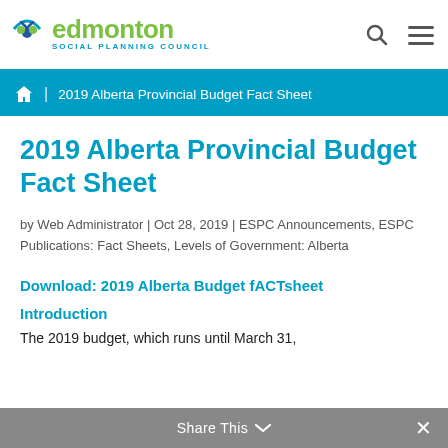[Figure (logo): Edmonton Social Planning Council logo with stylized figure icon, green 'edmonton' text, and blue 'SOCIAL PLANNING COUNCIL' subtitle]
2019 Alberta Provincial Budget Fact Sheet
2019 Alberta Provincial Budget Fact Sheet
by Web Administrator | Oct 28, 2019 | ESPC Announcements, ESPC Publications: Fact Sheets, Levels of Government: Alberta
Download: 2019 Alberta Budget fACTsheet
Introduction
The 2019 budget, which runs until March 31,